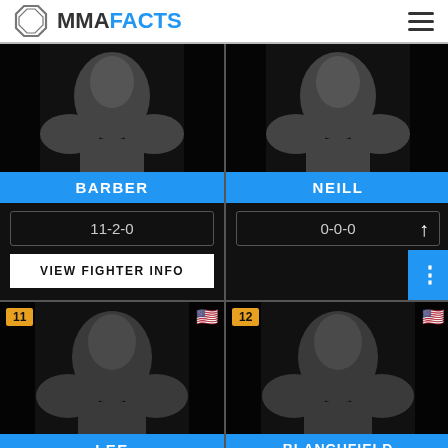MMAFACTS
[Figure (illustration): Fighter card for BARBER with silhouette image, record 11-2-0 and VIEW FIGHTER INFO button]
[Figure (illustration): Fighter card for NEILL with silhouette image, record 0-0-0 and up arrow, three-dot menu button]
[Figure (illustration): Fighter card for LEE, rank 11, US flag, silhouette]
[Figure (illustration): Fighter card for BLANCHFIELD, rank 12, US flag, silhouette]